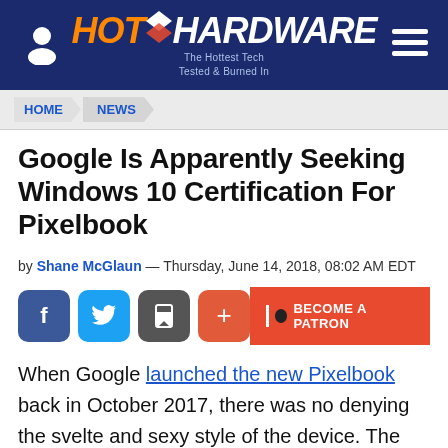[Figure (logo): HotHardware website logo with orange HOT and white HARDWARE text on dark blue navigation bar, with user icon on left and hamburger menu on right]
HOME > NEWS
Google Is Apparently Seeking Windows 10 Certification For Pixelbook
by Shane McGlaun — Thursday, June 14, 2018, 08:02 AM EDT
[Figure (infographic): Social share buttons: Facebook, Twitter, Save, Plus; and Become a Patron button]
When Google launched the new Pixelbook back in October 2017, there was no denying the svelte and sexy style of the device. The problem for many was that the little rig was $999 and only ran Chrome OS, which for many was a deal breaker. Google later made the device a testing ground for the Fuchsia OS. A new rumor is floating around that if true may finally put the sleek Pixelbook on the must-have list for